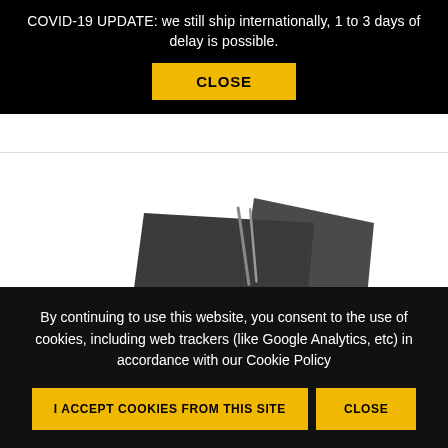COVID-19 UPDATE: we still ship internationally, 1 to 3 days of delay is possible.
CLOSE
[Figure (photo): Product photo of X-Ray Thunder 9 Control Edition, showing dark/black rubber mats or pads stacked slightly overlapping on a white background.]
IN STOCK
X-RAY THUNDER 9 CONTROL EDITION
✔ Shipping Deal
By continuing to use this website, you consent to the use of cookies, including web trackers (like Google Analytics, etc) in accordance with our Cookie Policy
I ACCEPT COOKIES FROM THIS SITE
CLOSE